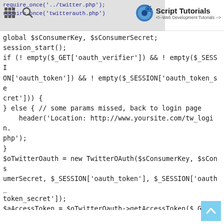Script Tutorials - Web Development Tutorials
global $sConsumerKey, $sConsumerSecret;
session_start();
if (! empty($_GET['oauth_verifier']) && ! empty($_SESSION['oauth_token']) && ! empty($_SESSION['oauth_token_secret'])) {
} else { // some params missed, back to login page
    header('Location: http://www.yoursite.com/tw_login.php');
}
$oTwitterOauth = new TwitterOAuth($sConsumerKey, $sConsumerSecret, $_SESSION['oauth_token'], $_SESSION['oauth_token_secret']);
$aAccessToken = $oTwitterOauth->getAccessToken($_GET['oauth_verifier']); // get access tokens
$_SESSION['access_token'] = $aAccessToken; // saving access token to sessions
$oUserInfo = $oTwitterOauth->get('account/verify_credentials'); // get account details
if(isset($oUserInfo->error)){
    header('Location: http://www.yoursite.com/tw_logi